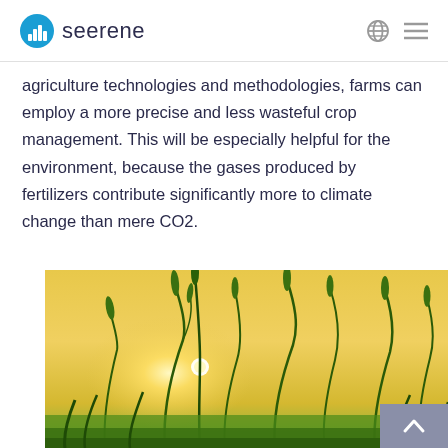seerene
agriculture technologies and methodologies, farms can employ a more precise and less wasteful crop management. This will be especially helpful for the environment, because the gases produced by fertilizers contribute significantly more to climate change than mere CO2.
[Figure (photo): Green wheat or grain stalks in a field with the sun setting or rising behind them, creating a golden glowing background. The crop stalks are backlit, silhouetted against a warm yellow-orange sky.]